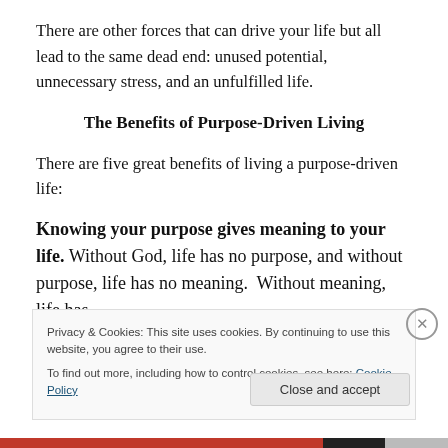There are other forces that can drive your life but all lead to the same dead end: unused potential, unnecessary stress, and an unfulfilled life.
The Benefits of Purpose-Driven Living
There are five great benefits of living a purpose-driven life:
Knowing your purpose gives meaning to your life. Without God, life has no purpose, and without purpose, life has no meaning.  Without meaning, life has
Privacy & Cookies: This site uses cookies. By continuing to use this website, you agree to their use.
To find out more, including how to control cookies, see here: Cookie Policy
Close and accept